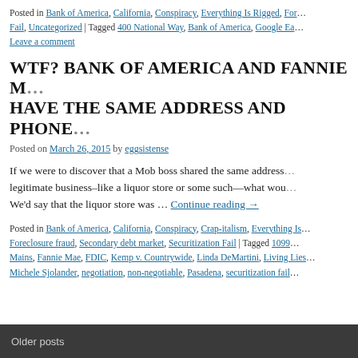Posted in Bank of America, California, Conspiracy, Everything Is Rigged, Fore... Fail, Uncategorized | Tagged 400 National Way, Bank of America, Google Ea...
Leave a comment
WTF? BANK OF AMERICA AND FANNIE M... HAVE THE SAME ADDRESS AND PHONE...
Posted on March 26, 2015 by eggsistense
If we were to discover that a Mob boss shared the same address... legitimate business–like a liquor store or some such—what wou... We'd say that the liquor store was … Continue reading →
Posted in Bank of America, California, Conspiracy, Crap-italism, Everything Is... Foreclosure fraud, Secondary debt market, Securitization Fail | Tagged 1099... Mains, Fannie Mae, FDIC, Kemp v. Countrywide, Linda DeMartini, Living Lies... Michele Sjolander, negotiation, non-negotiable, Pasadena, securitization fail...
Older posts